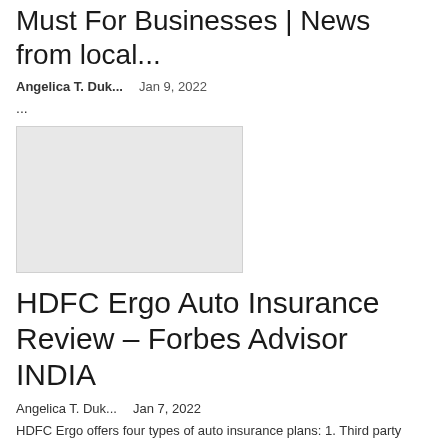Must For Businesses | News from local...
Angelica T. Duk...   Jan 9, 2022
...
[Figure (photo): Gray placeholder image for article thumbnail]
HDFC Ergo Auto Insurance Review – Forbes Advisor INDIA
Angelica T. Duk...   Jan 7, 2022
HDFC Ergo offers four types of auto insurance plans: 1. Third party